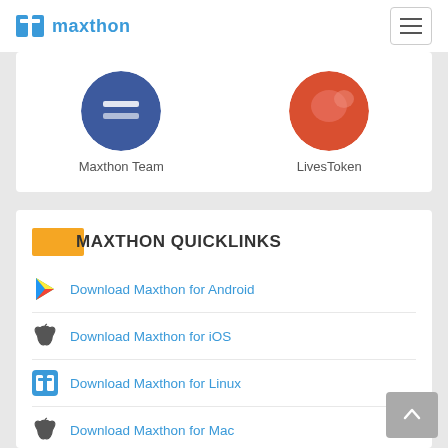maxthon
[Figure (illustration): Two circular avatars: blue circle for Maxthon Team and red/orange circle for LivesToken]
MAXTHON QUICKLINKS
Download Maxthon for Android
Download Maxthon for iOS
Download Maxthon for Linux
Download Maxthon for Mac
Download Maxthon for PC
Download Maxthon for WP